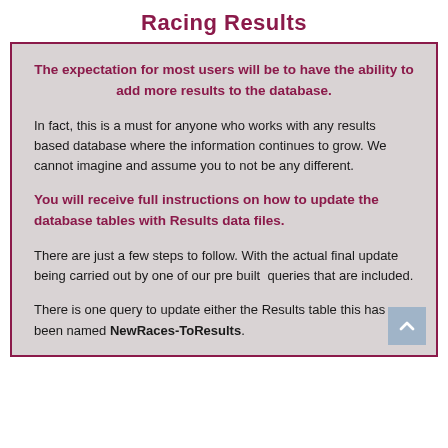Racing Results
The expectation for most users will be to have the ability to add more results to the database.
In fact, this is a must for anyone who works with any results based database where the information continues to grow. We cannot imagine and assume you to not be any different.
You will receive full instructions on how to update the database tables with Results data files.
There are just a few steps to follow. With the actual final update being carried out by one of our pre built  queries that are included.
There is one query to update either the Results table this has been named NewRaces-ToResults.